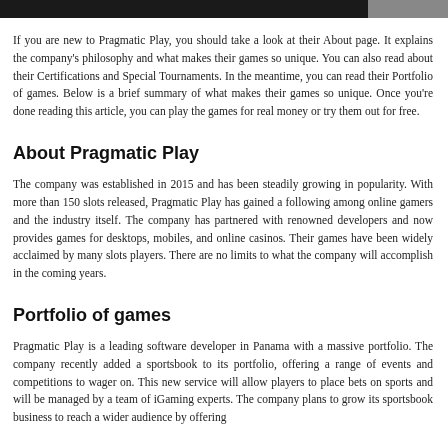[Figure (photo): Partial image strip at the top of the page, dark background with a lighter section on the right]
If you are new to Pragmatic Play, you should take a look at their About page. It explains the company's philosophy and what makes their games so unique. You can also read about their Certifications and Special Tournaments. In the meantime, you can read their Portfolio of games. Below is a brief summary of what makes their games so unique. Once you're done reading this article, you can play the games for real money or try them out for free.
About Pragmatic Play
The company was established in 2015 and has been steadily growing in popularity. With more than 150 slots released, Pragmatic Play has gained a following among online gamers and the industry itself. The company has partnered with renowned developers and now provides games for desktops, mobiles, and online casinos. Their games have been widely acclaimed by many slots players. There are no limits to what the company will accomplish in the coming years.
Portfolio of games
Pragmatic Play is a leading software developer in Panama with a massive portfolio. The company recently added a sportsbook to its portfolio, offering a range of events and competitions to wager on. This new service will allow players to place bets on sports and will be managed by a team of iGaming experts. The company plans to grow its sportsbook business to reach a wider audience by offering